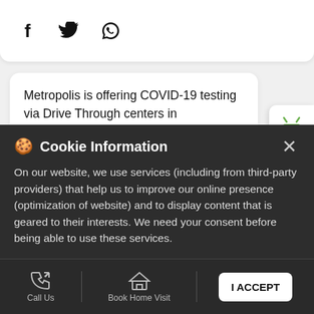[Figure (screenshot): Social media share icons: Facebook (f), Twitter (bird), WhatsApp (phone)]
Metropolis is offering COVID-19 testing via Drive Through centers in Mumbai.The Drive-Through Centers are located at Worli (Artesia Building, Metal Box Company, Hind Cycle Road), Dadar (Kohinoor Mill, Opp. Sena Bhavan) and Borivali (Village Eksar, Devidas Lane, Borivali West).Call 8422-801-801 or visit link in bio to know more. Metropolis stands with you during this crisis. We care for you.
[Figure (logo): Android robot icon (green) and Apple logo icon - app download badges]
#MetropolisLabs
#COVID19
Cookie Information
On our website, we use services (including from third-party providers) that help us to improve our online presence (optimization of website) and to display content that is geared to their interests. We need your consent before being able to use these services.
[Figure (screenshot): Bottom navigation bar with Call Us (phone icon), Book Home Visit (house icon), Directions, and I ACCEPT button]